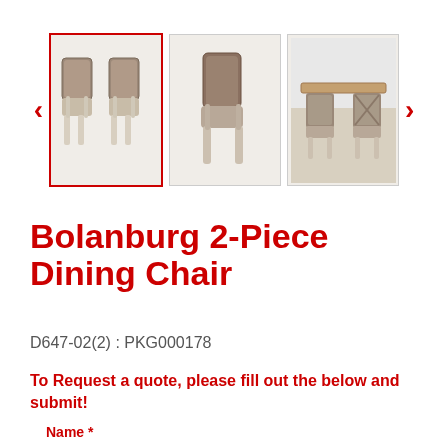[Figure (photo): Product image gallery showing three thumbnail photos of the Bolanburg 2-Piece Dining Chair. First thumbnail (selected with red border) shows two chairs side by side, second shows a single chair from the front, third shows chairs in a room setting. Navigation arrows on left and right.]
Bolanburg 2-Piece Dining Chair
D647-02(2)  :  PKG000178
To Request a quote, please fill out the below and submit!
Name *